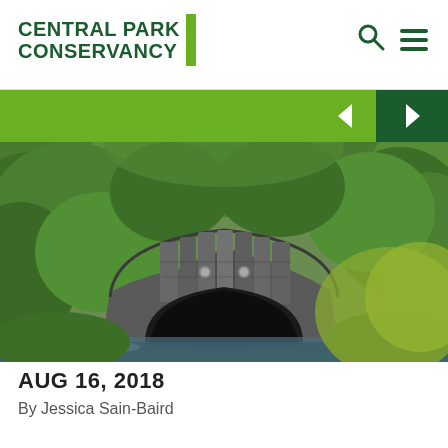CENTRAL PARK CONSERVANCY
[Figure (photo): Stone arch bridge surrounded by lush green foliage and trees in Central Park, viewed from below showing the arch structure with a stream visible below]
AUG 16, 2018
By Jessica Sain-Baird